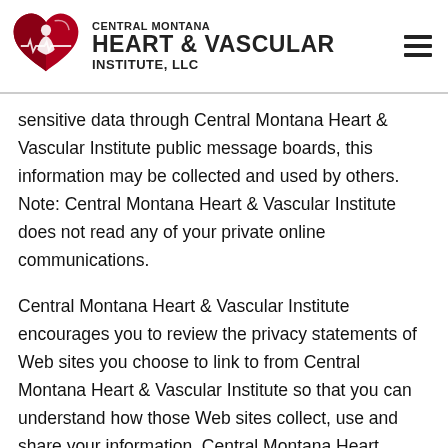[Figure (logo): Central Montana Heart & Vascular Institute, LLC logo with red heart and white figure, plus hamburger menu icon]
sensitive data through Central Montana Heart & Vascular Institute public message boards, this information may be collected and used by others. Note: Central Montana Heart & Vascular Institute does not read any of your private online communications.
Central Montana Heart & Vascular Institute encourages you to review the privacy statements of Web sites you choose to link to from Central Montana Heart & Vascular Institute so that you can understand how those Web sites collect, use and share your information. Central Montana Heart